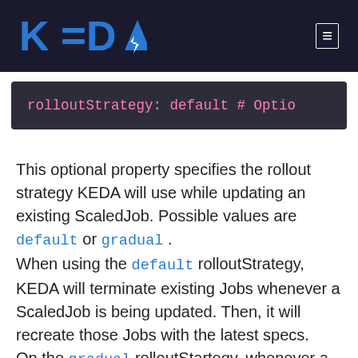KEDA (logo)
This optional property specifies the rollout strategy KEDA will use while updating an existing ScaledJob. Possible values are default or gradual . When using the default rolloutStrategy, KEDA will terminate existing Jobs whenever a ScaledJob is being updated. Then, it will recreate those Jobs with the latest specs. On the gradual rolloutStartegy, whenever a